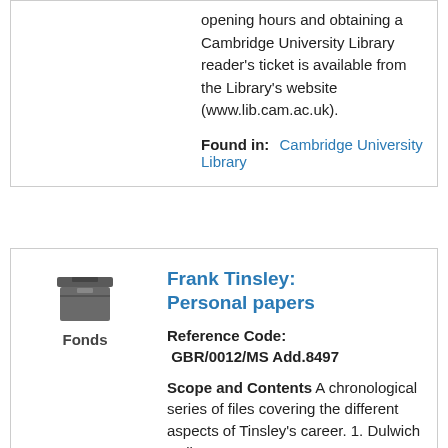opening hours and obtaining a Cambridge University Library reader's ticket is available from the Library's website (www.lib.cam.ac.uk).
Found in:   Cambridge University Library
[Figure (other): Fonds icon: a stylized archive box with a dark grey color, labeled 'Fonds' below]
Frank Tinsley: Personal papers
Reference Code:  GBR/0012/MS Add.8497
Scope and Contents A chronological series of files covering the different aspects of Tinsley's career. 1. Dulwich College, 1921;